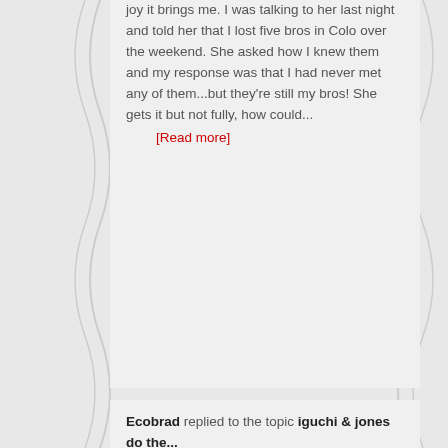joy it brings me. I was talking to her last night and told her that I lost five bros in Colo over the weekend. She asked how I knew them and my response was that I had never met any of them...but they're still my bros! She gets it but not fully, how could...
[Read more]
Ecobrad replied to the topic iguchi & jones do the...